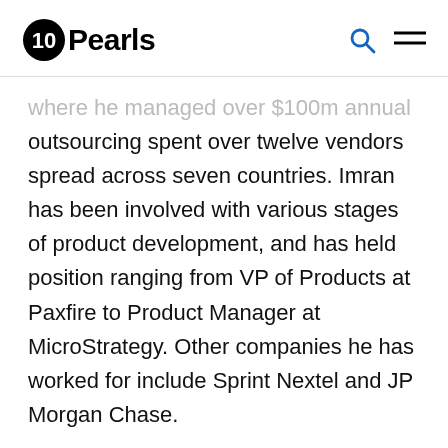10Pearls
where he managed over $100M annual outsourcing spent over twelve vendors spread across seven countries. Imran has been involved with various stages of product development, and has held position ranging from VP of Products at Paxfire to Product Manager at MicroStrategy. Other companies he has worked for include Sprint Nextel and JP Morgan Chase.
Imran is a graduate of Mindshare, a forum of CEOs of D.C. area's most